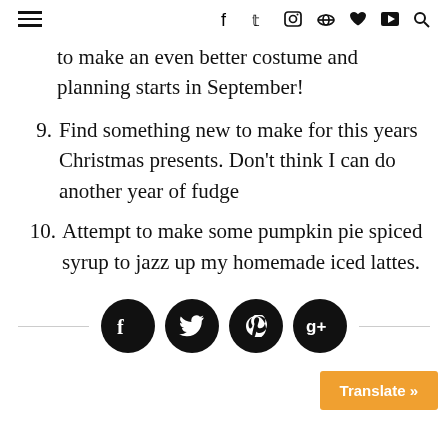≡  f  🐦  📷  📌  ♥  ▶  🔍
to make an even better costume and planning starts in September!
9. Find something new to make for this years Christmas presents. Don't think I can do another year of fudge
10. Attempt to make some pumpkin pie spiced syrup to jazz up my homemade iced lattes.
[Figure (infographic): Social share bar with four black circle buttons for Facebook, Twitter, Pinterest, Google+, flanked by horizontal lines on each side]